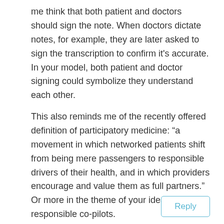me think that both patient and doctors should sign the note. When doctors dictate notes, for example, they are later asked to sign the transcription to confirm it's accurate. In your model, both patient and doctor signing could symbolize they understand each other.
This also reminds me of the recently offered definition of participatory medicine: “a movement in which networked patients shift from being mere passengers to responsible drivers of their health, and in which providers encourage and value them as full partners.” Or more in the theme of your idea: responsible co-pilots.